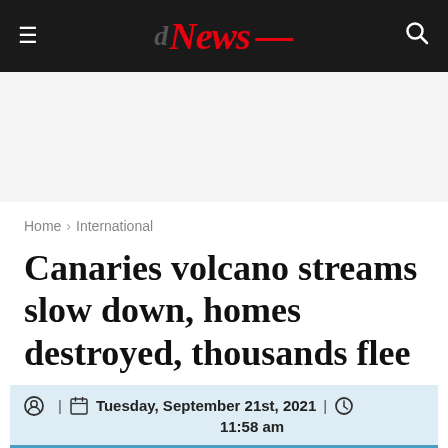≡ News ⌕
Home › International
Canaries volcano streams slow down, homes destroyed, thousands flee
| Tuesday, September 21st, 2021 | 11:58 am